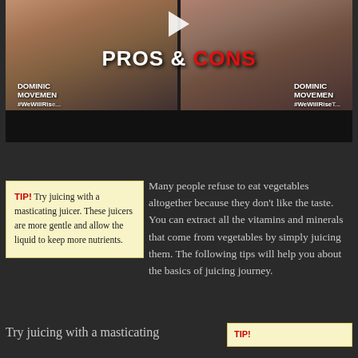[Figure (screenshot): Video thumbnail showing two women with text overlay 'PROS & CONS' and 'DOMINIC MOVEMENT #WeWillRise' logos. Play button visible at top center.]
TIP! Try juicing with a masticating juicer. These juicers are more gentle and allow the liquid to keep more nutrients.
Many people refuse to eat vegetables altogether because they don't like the taste. You can extract all the vitamins and minerals that come from vegetables by simply juicing them. The following tips will help you about the basics of juicing journey.
Try juicing with a masticating
TIP!